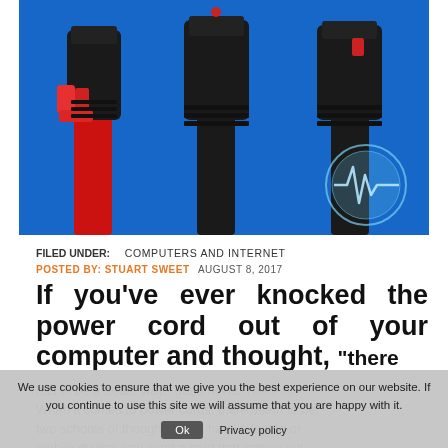[Figure (photo): Three power cord connectors (IEC C13/C14 type): left has a red locking clip on a red cable, center and right are standard black connectors, rightmost has a red tab. Background is bright blue. A circular icon with a waveform is overlaid in the lower right area of the image.]
FILED UNDER:    COMPUTERS AND INTERNET
POSTED BY: STUART SWEET    AUGUST 8, 2017
If you've ever knocked the power cord out of your computer and thought, "there has to be a better way," good news. There is.
When it comes to power cords, there seem to be two schools of thought. If you have a laptop or mobile device, you want a cord that comes out
We use cookies to ensure that we give you the best experience on our website. If you continue to use this site we will assume that you are happy with it.
Ok   Privacy policy